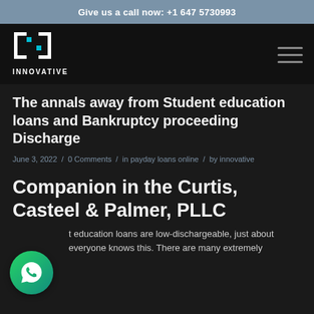Give us a call now: +1 647 5730993
[Figure (logo): Innovative company logo with bracket icon and INNOVATIVE text]
The annals away from Student education loans and Bankruptcy proceeding Discharge
June 3, 2022 / 0 Comments / in payday loans online / by innovative
Companion in the Curtis, Casteel & Palmer, PLLC
Student education loans are low-dischargeable, just about everyone knows this. There are many extremely